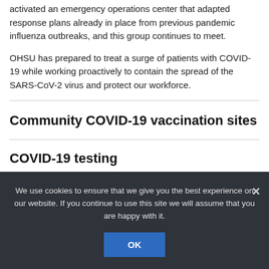activated an emergency operations center that adapted response plans already in place from previous pandemic influenza outbreaks, and this group continues to meet.
OHSU has prepared to treat a surge of patients with COVID-19 while working proactively to contain the spread of the SARS-CoV-2 virus and protect our workforce.
Community COVID-19 vaccination sites
COVID-19 testing
We use cookies to ensure that we give you the best experience on our website. If you continue to use this site we will assume that you are happy with it.